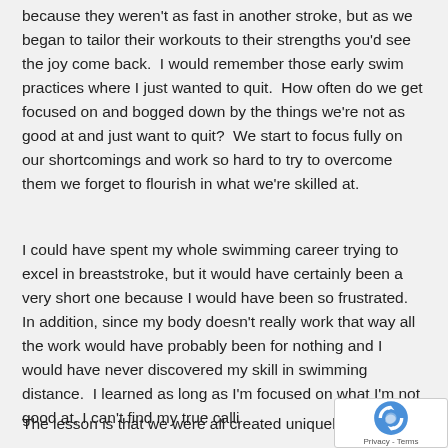because they weren't as fast in another stroke, but as we began to tailor their workouts to their strengths you'd see the joy come back.  I would remember those early swim practices where I just wanted to quit.  How often do we get focused on and bogged down by the things we're not as good at and just want to quit?  We start to focus fully on our shortcomings and work so hard to try to overcome them we forget to flourish in what we're skilled at.
I could have spent my whole swimming career trying to excel in breaststroke, but it would have certainly been a very short one because I would have been so frustrated.  In addition, since my body doesn't really work that way all the work would have probably been for nothing and I would have never discovered my skill in swimming distance.  I learned as long as I'm focused on what I'm not good at, I can't find my true calli…
The lesson is that we were all created uniquely and with…